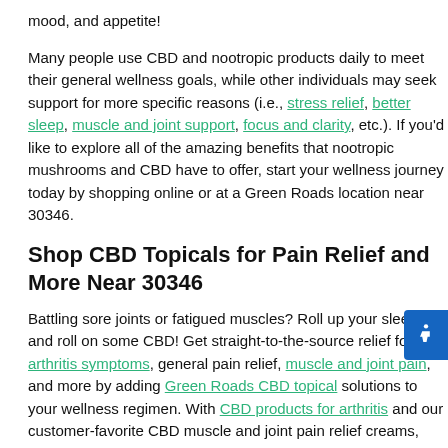mood, and appetite!
Many people use CBD and nootropic products daily to meet their general wellness goals, while other individuals may seek support for more specific reasons (i.e., stress relief, better sleep, muscle and joint support, focus and clarity, etc.). If you'd like to explore all of the amazing benefits that nootropic mushrooms and CBD have to offer, start your wellness journey today by shopping online or at a Green Roads location near 30346.
Shop CBD Topicals for Pain Relief and More Near 30346
Battling sore joints or fatigued muscles? Roll up your sleeves and roll on some CBD! Get straight-to-the-source relief for arthritis symptoms, general pain relief, muscle and joint pain, and more by adding Green Roads CBD topical solutions to your wellness regimen. With CBD products for arthritis and our customer-favorite CBD muscle and joint pain relief creams, you can get targeted relief right where your body needs it most.